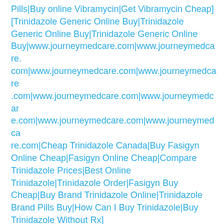Pills|Buy online Vibramycin|Get Vibramycin Cheap]
[Trinidazole Generic Online Buy|Trinidazole Generic Online Buy|Trinidazole Generic Online Buy|www.journeymedcare.com|www.journeymedcare.com|www.journeymedcare.com|www.journeymedcare.com|www.journeymedcare.com|www.journeymedcar e.com|www.journeymedcare.com|www.journeymedcare.com|Cheap Trinidazole Canada|Buy Fasigyn Online Cheap|Fasigyn Online Cheap|Compare Trinidazole Prices|Best Online Trinidazole|Trinidazole Order|Fasigyn Buy Cheap|Buy Brand Trinidazole Online|Trinidazole Brand Pills Buy|How Can I Buy Trinidazole|Buy Trinidazole Without Rx]
[Buy Generic Simvastatin Online|Buy Generic Simvastatin Online|Buy Generic Simvastatin Online|360degreeinternational.com|360degreeinternational.com|360degreeinternational.com|360degreeinternational.com|360degreeinternational.com|360degreeinternational.com|360degreeinternational.com|360degreeinternational.com|360degre